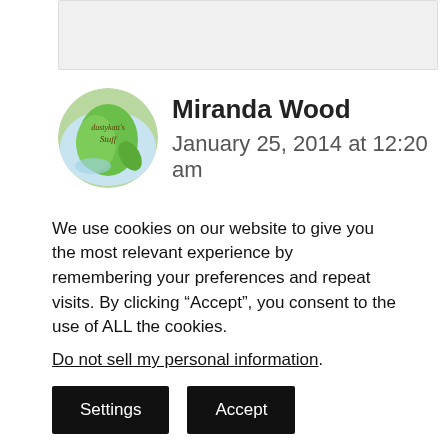[Figure (other): Partial gray comment box at top, cropped]
[Figure (illustration): Circular avatar logo for 'dustykatt's Stuff' with green leaf design]
Miranda Wood
January 25, 2014 at 12:20 am
I am so far behind on all of this. I really need to invite my son over for a
We use cookies on our website to give you the most relevant experience by remembering your preferences and repeat visits. By clicking “Accept”, you consent to the use of ALL the cookies.
Do not sell my personal information.
Settings
Accept